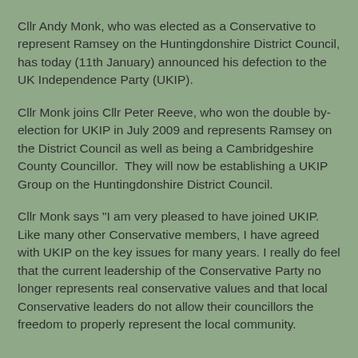Cllr Andy Monk, who was elected as a Conservative to represent Ramsey on the Huntingdonshire District Council, has today (11th January) announced his defection to the UK Independence Party (UKIP).
Cllr Monk joins Cllr Peter Reeve, who won the double by-election for UKIP in July 2009 and represents Ramsey on the District Council as well as being a Cambridgeshire County Councillor.  They will now be establishing a UKIP Group on the Huntingdonshire District Council.
Cllr Monk says "I am very pleased to have joined UKIP.  Like many other Conservative members, I have agreed with UKIP on the key issues for many years. I really do feel that the current leadership of the Conservative Party no longer represents real conservative values and that local Conservative leaders do not allow their councillors the freedom to properly represent the local community.